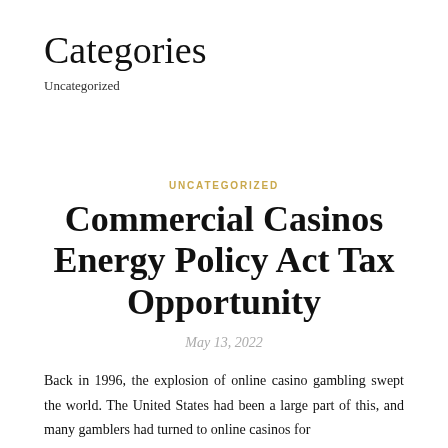Categories
Uncategorized
UNCATEGORIZED
Commercial Casinos Energy Policy Act Tax Opportunity
May 13, 2022
Back in 1996, the explosion of online casino gambling swept the world. The United States had been a large part of this, and many gamblers had turned to online casinos for